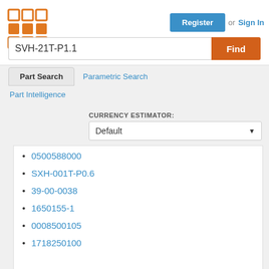[Figure (logo): Orange grid/matrix logo icon]
Register or Sign In
SVH-21T-P1.1
Find
Part Search
Parametric Search
Part Intelligence
CURRENCY ESTIMATOR:
Default
0500588000
SXH-001T-P0.6
39-00-0038
1650155-1
0008500105
1718250100